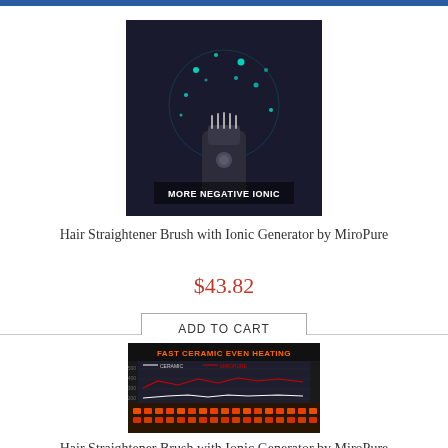[Figure (photo): Product photo of a hair straightener brush glowing with teal ionic light effects, text overlay reads MORE NEGATIVE IONIC]
Hair Straightener Brush with Ionic Generator by MiroPure
$43.82
ADD TO CART
[Figure (photo): Product photo of a hair straightener brush showing FAST CERAMIC EVEN HEATING with a temperature graph and glowing ceramic heating elements]
Hair Straightener Brush with Ionic Generator by MiroPure